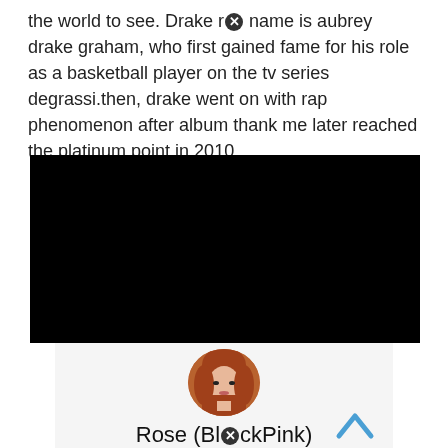the world to see. Drake r[x] name is aubrey drake graham, who first gained fame for his role as a basketball player on the tv series degrassi.then, drake went on with rap phenomenon after album thank me later reached the platinum point in 2010.
[Figure (photo): Black redacted/blocked image rectangle]
[Figure (photo): Circular profile photo of Rose (BlackPink) with red/auburn hair, shown from shoulders up]
Rose (BlackPink)